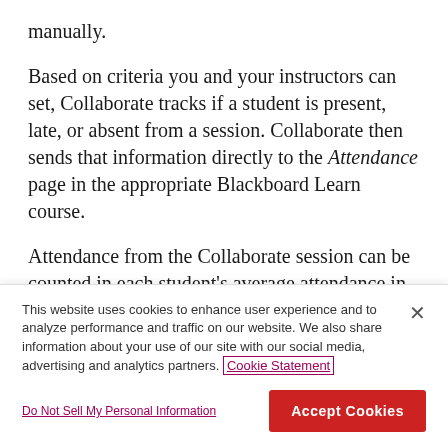manually.
Based on criteria you and your instructors can set, Collaborate tracks if a student is present, late, or absent from a session. Collaborate then sends that information directly to the Attendance page in the appropriate Blackboard Learn course.
Attendance from the Collaborate session can be counted in each student's average attendance in the course. which can also be used in calculating
This website uses cookies to enhance user experience and to analyze performance and traffic on our website. We also share information about your use of our site with our social media, advertising and analytics partners. Cookie Statement
Do Not Sell My Personal Information
Accept Cookies